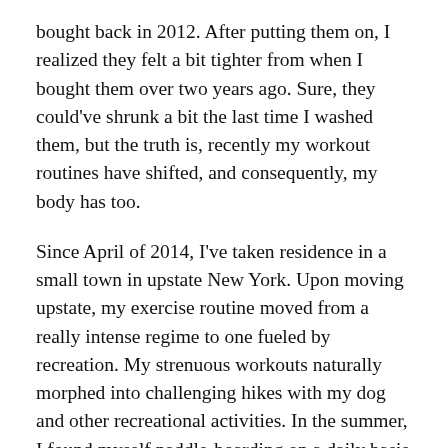bought back in 2012. After putting them on, I realized they felt a bit tighter from when I bought them over two years ago. Sure, they could've shrunk a bit the last time I washed them, but the truth is, recently my workout routines have shifted, and consequently, my body has too.
Since April of 2014, I've taken residence in a small town in upstate New York. Upon moving upstate, my exercise routine moved from a really intense regime to one fueled by recreation. My strenuous workouts naturally morphed into challenging hikes with my dog and other recreational activities. In the summer, I found myself paddle-boarding on a daily basis and taking long swims in the lake I had the pleasure of living on. Now that we are in the late days of fall heading into winter, my rhythm is adjusting, again. Though I miss inverting on my yoga mat at the world-class yoga studios NYC